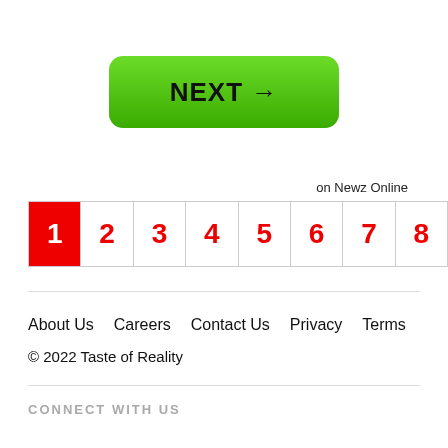[Figure (other): Green NEXT button with arrow]
on Newz Online
| 1 | 2 | 3 | 4 | 5 | 6 | 7 | 8 |
| --- | --- | --- | --- | --- | --- | --- | --- |
About Us   Careers   Contact Us   Privacy   Terms
© 2022 Taste of Reality
CONNECT WITH US